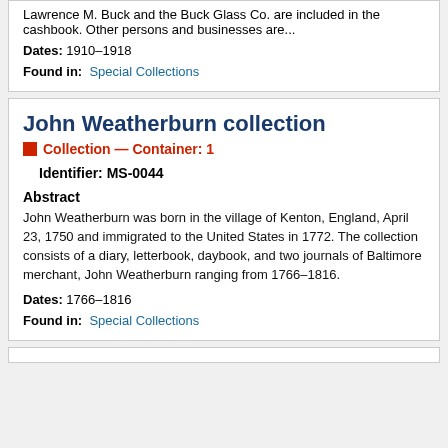Lawrence M. Buck and the Buck Glass Co. are included in the cashbook. Other persons and businesses are...
Dates: 1910-1918
Found in: Special Collections
John Weatherburn collection
Collection — Container: 1
Identifier: MS-0044
Abstract
John Weatherburn was born in the village of Kenton, England, April 23, 1750 and immigrated to the United States in 1772. The collection consists of a diary, letterbook, daybook, and two journals of Baltimore merchant, John Weatherburn ranging from 1766-1816.
Dates: 1766-1816
Found in: Special Collections